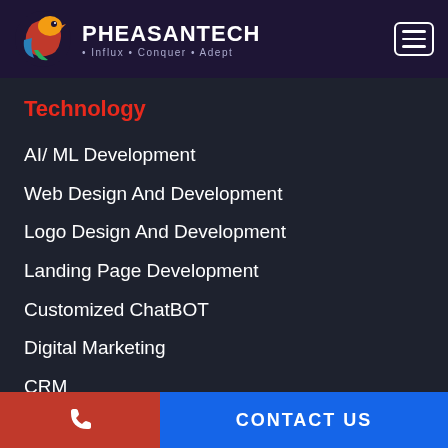[Figure (logo): Pheasantech logo with colorful bird graphic and company name, tagline: Influx Conquer Adept]
Technology
AI/ ML Development
Web Design And Development
Logo Design And Development
Landing Page Development
Customized ChatBOT
Digital Marketing
CRM
Client Area
FX BOT
CONTACT US